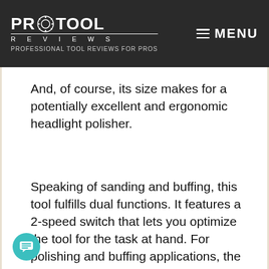PRO TOOL REVIEWS | PROFESSIONAL TOOL REVIEWS FOR PROS | MENU
And, of course, its size makes for a potentially excellent and ergonomic headlight polisher.
Speaking of sanding and buffing, this tool fulfills dual functions. It features a 2-speed switch that lets you optimize the tool for the task at hand. For polishing and buffing applications, the low speed gives you up to 2,800 rpm. For sanding work, you can get the Ryobi PRE102B to its higher speed, where it